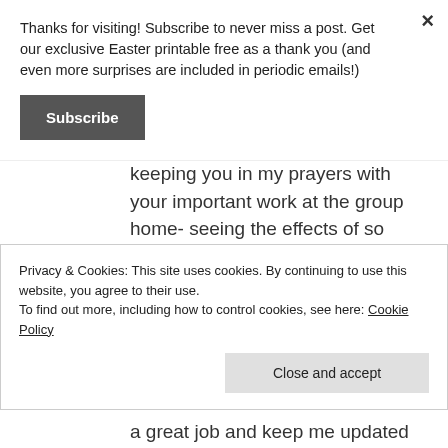Thanks for visiting! Subscribe to never miss a post. Get our exclusive Easter printable free as a thank you (and even more surprises are included in periodic emails!)
Subscribe
keeping you in my prayers with your important work at the group home- seeing the effects of so much trauma in the lives of kids is so hard. I find myself just wishing that we could just
Privacy & Cookies: This site uses cookies. By continuing to use this website, you agree to their use.
To find out more, including how to control cookies, see here: Cookie Policy
Close and accept
a great job and keep me updated